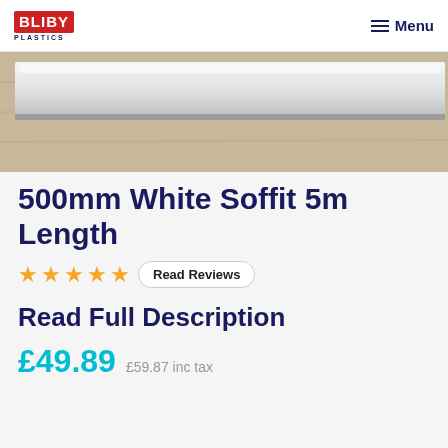BLIBY PLASTICS | Menu
[Figure (photo): Product photo of a white soffit panel on a wooden surface, viewed from above at an angle]
500mm White Soffit 5m Length
★★★★★ Read Reviews
Read Full Description
£49.89  £59.87 inc tax